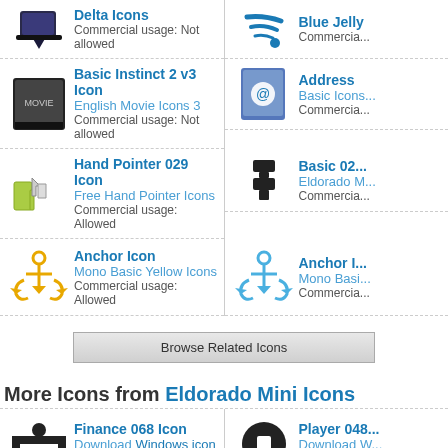Delta Icons | Commercial usage: Not allowed (left col, top row, partially visible)
Blue Jelly | Commercial... (right col, top row, partially visible)
Basic Instinct 2 v3 Icon | English Movie Icons 3 | Commercial usage: Not allowed
Address... | Basic Icons... | Commercia... (right col, partially visible)
Hand Pointer 029 Icon | Free Hand Pointer Icons | Commercial usage: Allowed
Basic 02... | Eldorado M... | Commercia... (right col, partially visible)
Anchor Icon | Mono Basic Yellow Icons | Commercial usage: Allowed
Anchor I... | Mono Basi... | Commercia... (right col, partially visible)
Browse Related Icons
More Icons from Eldorado Mini Icons
Finance 068 Icon | Download Windows icon | Download PNG files
Player 048... | Download W... | Download Pl... (right col, partially visible)
Food 3 031 Icon | Download Windows icon... (partially visible)
Devices 0... (right col, partially visible)